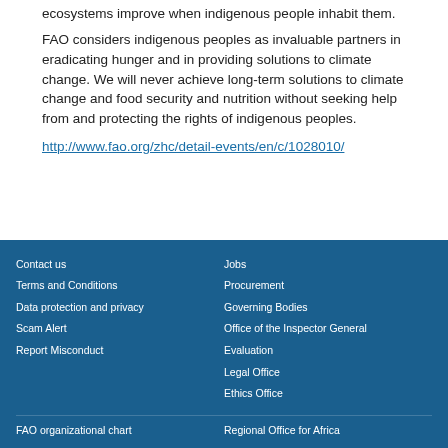ecosystems improve when indigenous people inhabit them.
FAO considers indigenous peoples as invaluable partners in eradicating hunger and in providing solutions to climate change. We will never achieve long-term solutions to climate change and food security and nutrition without seeking help from and protecting the rights of indigenous peoples.
http://www.fao.org/zhc/detail-events/en/c/1028010/
Contact us
Terms and Conditions
Data protection and privacy
Scam Alert
Report Misconduct
Jobs
Procurement
Governing Bodies
Office of the Inspector General
Evaluation
Legal Office
Ethics Office
FAO organizational chart | Regional Office for Africa